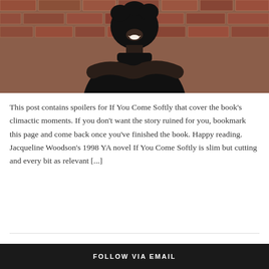[Figure (photo): A smiling woman with natural hair wearing a black turtleneck, arms crossed, posed against a brick wall background.]
This post contains spoilers for If You Come Softly that cover the book's climactic moments. If you don't want the story ruined for you, bookmark this page and come back once you've finished the book. Happy reading. Jacqueline Woodson's 1998 YA novel If You Come Softly is slim but cutting and every bit as relevant [...]
FOLLOW VIA EMAIL